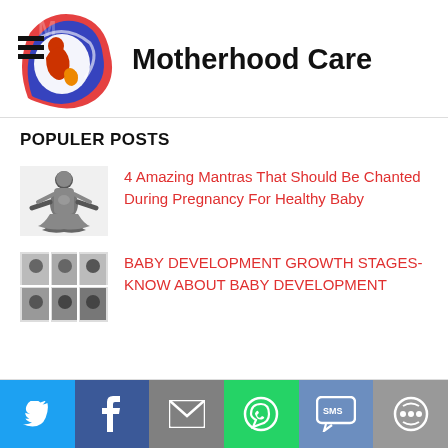Motherhood Care
POPULER POSTS
4 Amazing Mantras That Should Be Chanted During Pregnancy For Healthy Baby
BABY DEVELOPMENT GROWTH STAGES-KNOW ABOUT BABY DEVELOPMENT
[Figure (logo): Motherhood Care logo with red, blue and white swoosh design featuring a mother and baby silhouette]
[Figure (photo): Pregnant woman in meditation/yoga pose]
[Figure (photo): Baby development stages growth image]
Social share buttons: Twitter, Facebook, Email, WhatsApp, SMS, Other